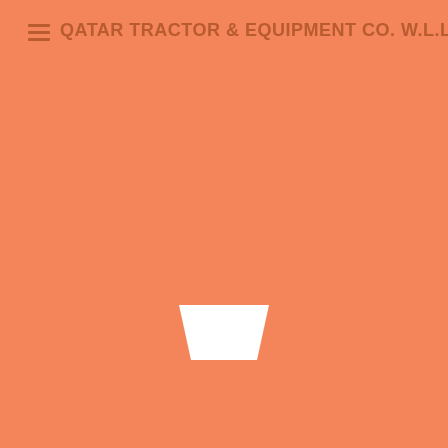QATAR TRACTOR & EQUIPMENT CO. W.L.L
[Figure (logo): White trapezoid/bucket shape icon centered in the lower portion of the orange background page, resembling a simplified tractor bucket or loader icon]